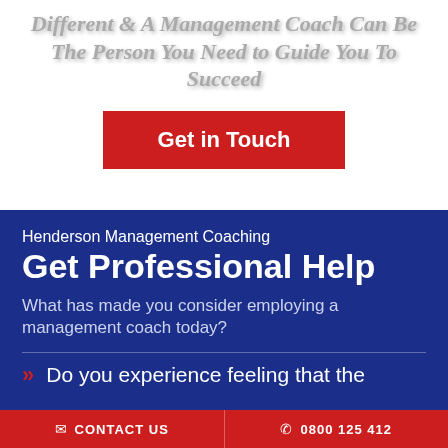Different & A Management Coach Can Be The Person You Need to Guide You To Succeed
Get in Touch
Henderson Management Coaching
Get Professional Help
What has made you consider employing a management coach today?
Do you experience feeling that the
CONTACT US   0800 125 412